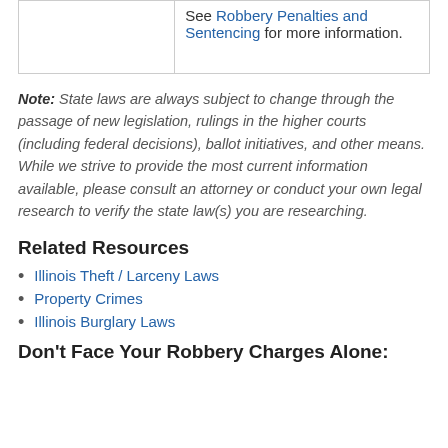|  |  |
| --- | --- |
|  | See Robbery Penalties and Sentencing for more information. |
Note: State laws are always subject to change through the passage of new legislation, rulings in the higher courts (including federal decisions), ballot initiatives, and other means. While we strive to provide the most current information available, please consult an attorney or conduct your own legal research to verify the state law(s) you are researching.
Related Resources
Illinois Theft / Larceny Laws
Property Crimes
Illinois Burglary Laws
Don't Face Your Robbery Charges Alone: